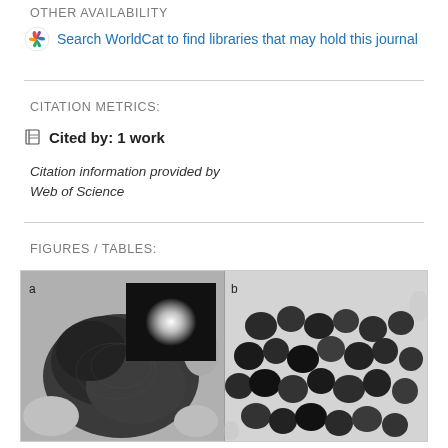OTHER AVAILABILITY
Search WorldCat to find libraries that may hold this journal
CITATION METRICS:
Cited by: 1 work
Citation information provided by
Web of Science
FIGURES / TABLES:
[Figure (photo): Two microscopy images side by side. Left panel (a): TEM image of a dark, irregularly shaped nanostructure aggregate with an inset showing a bright diffraction spot on black background. Right panel (b): TEM image showing multiple dark rounded nanoparticles clustered together on a light background.]